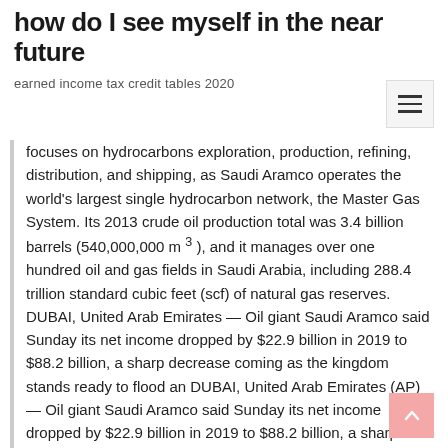how do I see myself in the near future
earned income tax credit tables 2020
focuses on hydrocarbons exploration, production, refining, distribution, and shipping, as Saudi Aramco operates the world's largest single hydrocarbon network, the Master Gas System. Its 2013 crude oil production total was 3.4 billion barrels (540,000,000 m 3 ), and it manages over one hundred oil and gas fields in Saudi Arabia, including 288.4 trillion standard cubic feet (scf) of natural gas reserves. DUBAI, United Arab Emirates — Oil giant Saudi Aramco said Sunday its net income dropped by $22.9 billion in 2019 to $88.2 billion, a sharp decrease coming as the kingdom stands ready to flood an DUBAI, United Arab Emirates (AP) — Oil giant Saudi Aramco said Sunday its net income dropped by $22.9 billion in 2019 to $88.2 billion, a sharp decrease coming as the kingdom stands ready to flood an already-weakened global energy market amid the new coronavirus pandemic.